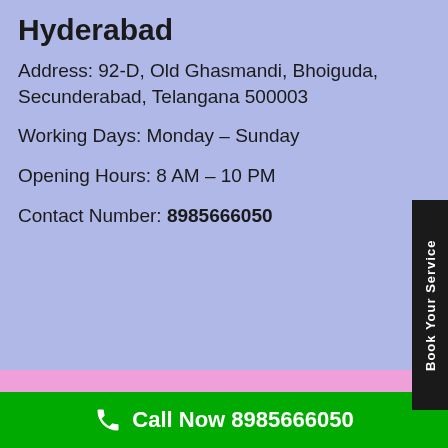Hyderabad
Address: 92-D, Old Ghasmandi, Bhoiguda, Secunderabad, Telangana 500003
Working Days: Monday – Sunday
Opening Hours: 8 AM – 10 PM
Contact Number: 8985666050
Carrier AC Service Center In Hyderabad
Address: 1-8-86, DV Colony Rd, Jawahar Nagar Colony, Krishna Nagar Colony, Ramgopalpet, Hyderabad, Telangana 500003
Call Now 8985666050